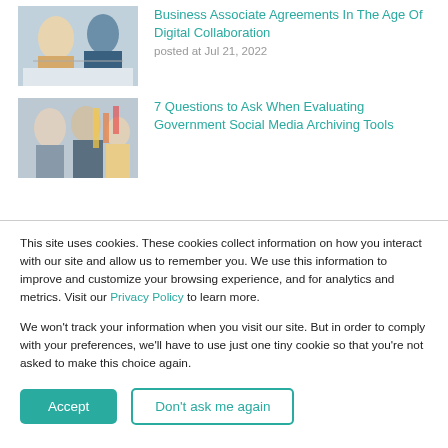[Figure (photo): Two people working together at a desk, signing documents, business meeting.]
Business Associate Agreements In The Age Of Digital Collaboration
posted at Jul 21, 2022
[Figure (photo): Group of colleagues in discussion in a modern office with sticky notes on glass wall.]
7 Questions to Ask When Evaluating Government Social Media Archiving Tools
This site uses cookies. These cookies collect information on how you interact with our site and allow us to remember you. We use this information to improve and customize your browsing experience, and for analytics and metrics. Visit our Privacy Policy to learn more.

We won't track your information when you visit our site. But in order to comply with your preferences, we'll have to use just one tiny cookie so that you're not asked to make this choice again.
Accept
Don't ask me again